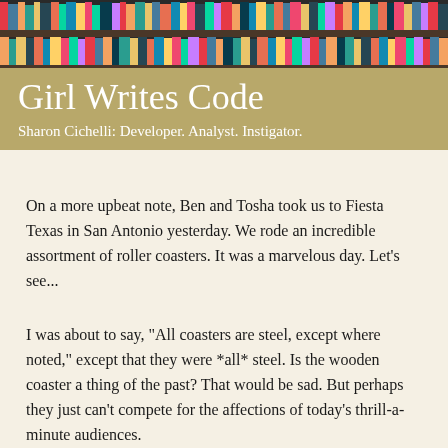[Figure (photo): Colorful books on library shelves, used as header banner image]
Girl Writes Code
Sharon Cichelli: Developer. Analyst. Instigator.
On a more upbeat note, Ben and Tosha took us to Fiesta Texas in San Antonio yesterday. We rode an incredible assortment of roller coasters. It was a marvelous day. Let's see...
I was about to say, "All coasters are steel, except where noted," except that they were *all* steel. Is the wooden coaster a thing of the past? That would be sad. But perhaps they just can't compete for the affections of today's thrill-a-minute audiences.
We started with the Boomerang, which pulls you backwards up the hill and then drops (back through the station), where you then zip